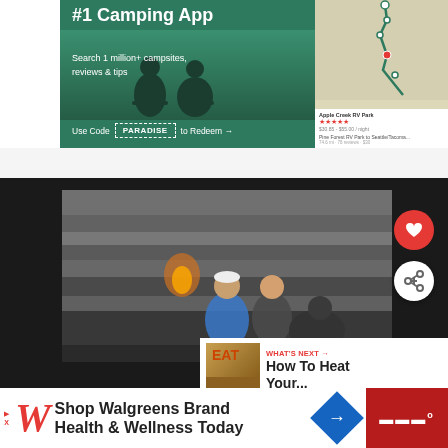[Figure (screenshot): Camping app advertisement banner showing '#1 Camping App, Search 1 million+ campsites, reviews & tips, Use Code PARADISE to Redeem' with silhouette of people camping on left and map route on right]
[Figure (photo): Black and white photo of a couple crouching with a dog in front of layered rock formations]
[Figure (screenshot): What's Next panel showing 'How To Heat Your...' with a thumbnail image]
[Figure (screenshot): Walgreens advertisement: 'Shop Walgreens Brand Health & Wellness Today']